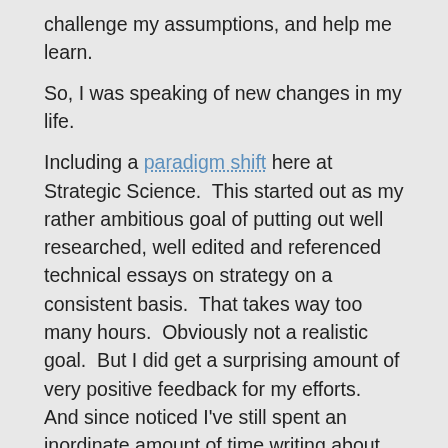challenge my assumptions, and help me learn.
So, I was speaking of new changes in my life.
Including a paradigm shift here at Strategic Science.  This started out as my rather ambitious goal of putting out well researched, well edited and referenced technical essays on strategy on a consistent basis.  That takes way too many hours.  Obviously not a realistic goal.  But I did get a surprising amount of very positive feedback for my efforts.   And since noticed I've still spent an inordinate amount of time writing about strategy.  Just that half of it went to a couple of friends in email, and the rest sits in a filing cabinet full of notes...
Not an effective strategy.  I got OODA Looped by a combination of unrealistic expectations and